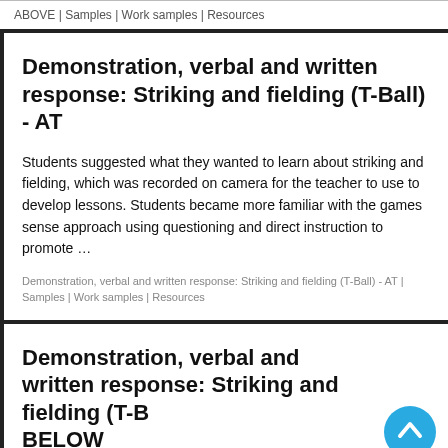ABOVE | Samples | Work samples | Resources
Demonstration, verbal and written response: Striking and fielding (T-Ball) - AT
Students suggested what they wanted to learn about striking and fielding, which was recorded on camera for the teacher to use to develop lessons. Students became more familiar with the games sense approach using questioning and direct instruction to promote …
Demonstration, verbal and written response: Striking and fielding (T-Ball) - AT | Samples | Work samples | Resources
Demonstration, verbal and written response: Striking and fielding (T-Ball) - BELOW